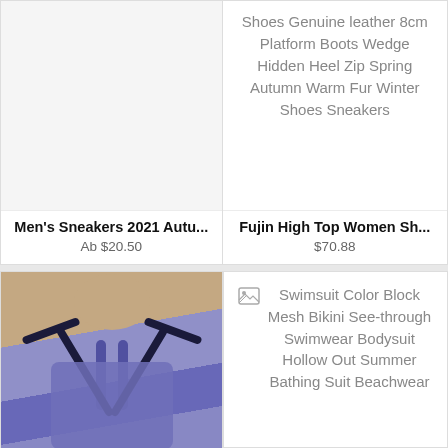[Figure (photo): Top-left product card image area — blank white space (image not visible)]
Shoes Genuine leather 8cm Platform Boots Wedge Hidden Heel Zip Spring Autumn Warm Fur Winter Shoes Sneakers
Men's Sneakers 2021 Autu...
Ab $20.50
Fujin High Top Women Sh...
$70.88
[Figure (photo): Photo of a person wearing a purple color-block strappy swimsuit/bodysuit]
Swimsuit Color Block Mesh Bikini See-through Swimwear Bodysuit Hollow Out Summer Bathing Suit Beachwear